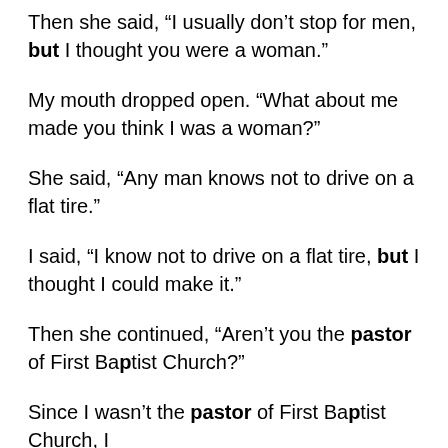Then she said, “I usually don’t stop for men, but I thought you were a woman.”
My mouth dropped open. “What about me made you think I was a woman?”
She said, “Any man knows not to drive on a flat tire.”
I said, “I know not to drive on a flat tire, but I thought I could make it.”
Then she continued, “Aren’t you the pastor of First Baptist Church?”
Since I wasn’t the pastor of First Baptist Church, I